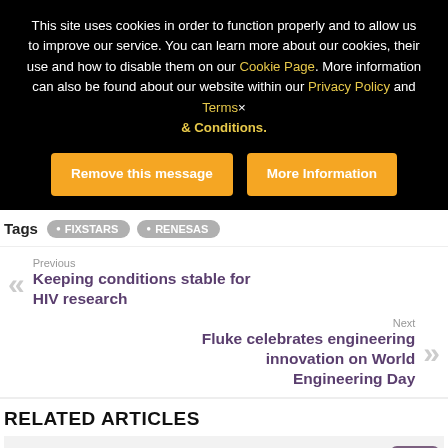This site uses cookies in order to function properly and to allow us to improve our service. You can learn more about our cookies, their use and how to disable them on our Cookie Page. More information can also be found about our website within our Privacy Policy and Terms & Conditions.
Remove this message
More Information
Tags  • FIXSTARS  • RENESAS
Previous
Keeping conditions stable for HIV research
Next
Fluke celebrates engineering innovation on World Engineering Day
RELATED ARTICLES
[Figure (photo): Partial image placeholder at bottom of page showing a related article thumbnail]